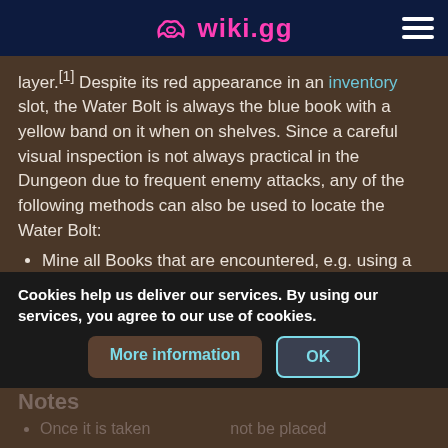wiki.gg
layer.[1] Despite its red appearance in an inventory slot, the Water Bolt is always the blue book with a yellow band on it when on shelves. Since a careful visual inspection is not always practical in the Dungeon due to frequent enemy attacks, any of the following methods can also be used to locate the Water Bolt:
Mine all Books that are encountered, e.g. using a pickaxe.
[icon] Right-click on all Books that are encountered. Only the Water Bolt will drop from a right-click.
[icon] Hover the cursor over all Books on the shelves of the Dungeon. When located, the Water Bolt shows as a tooltip beside the cursor. No other Books show a tooltip.
If the player is standing too far away, tooltips will not show, nor will right-clicks cause the Water Bolt to drop. The proximity required is the same as for opening Chests or speaking to NPCs.
Notes
Once it is taken ... not be placed
Cookies help us deliver our services. By using our services, you agree to our use of cookies.